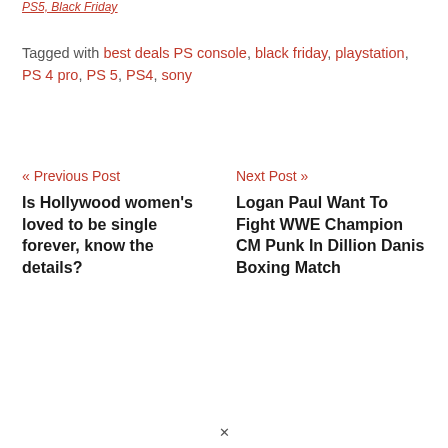PS5, Black Friday
Tagged with best deals PS console, black friday, playstation, PS 4 pro, PS 5, PS4, sony
« Previous Post
Is Hollywood women's loved to be single forever, know the details?
Next Post »
Logan Paul Want To Fight WWE Champion CM Punk In Dillion Danis Boxing Match